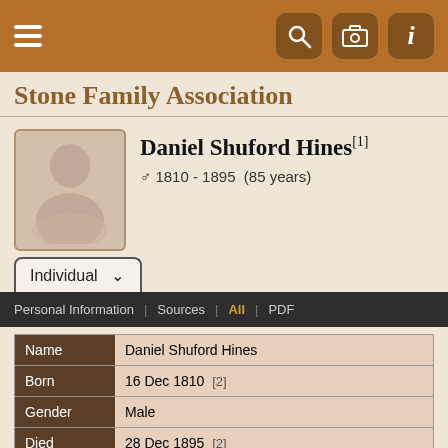Stone Family Association — navigation bar with hamburger menu and icons
Stone Family Association
Daniel Shuford Hines[1] ♂ 1810 - 1895 (85 years)
Individual — Personal Information | Sources | All | PDF
| Field | Value |
| --- | --- |
| Name | Daniel Shuford Hines |
| Born | 16 Dec 1810  [2] |
| Gender | Male |
| Died | 28 Dec 1895  [2] |
| Buried | Gastonia, Gaston, North Carolina, United States ♀ [2] |
| Person ID | I14265    Costner Descendants |